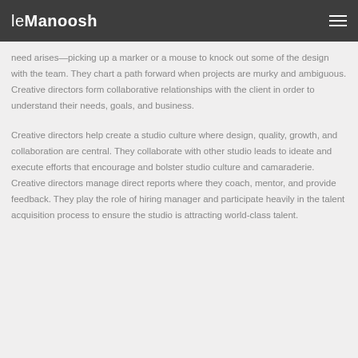leManoosh
need arises—picking up a marker or a mouse to knock out some of the design with the team. They chart a path forward when projects are murky and ambiguous. Creative directors form collaborative relationships with the client in order to understand their needs, goals, and business.
Creative directors help create a studio culture where design, quality, growth, and collaboration are central. They collaborate with other studio leads to ideate and execute efforts that encourage and bolster studio culture and camaraderie. Creative directors manage direct reports where they coach, mentor, and provide feedback. They play the role of hiring manager and participate heavily in the talent acquisition process to ensure the studio is attracting world-class talent.